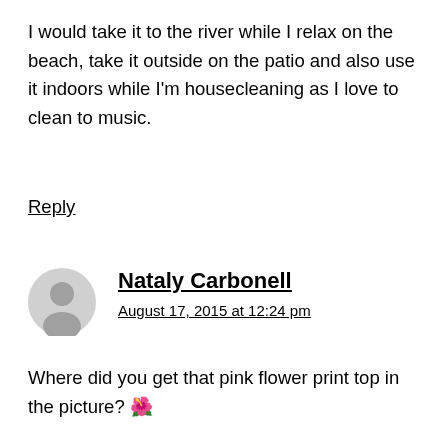I would take it to the river while I relax on the beach, take it outside on the patio and also use it indoors while I'm housecleaning as I love to clean to music.
Reply
[Figure (illustration): Generic user avatar icon — gray silhouette of a person on light gray circular background]
Nataly Carbonell
August 17, 2015 at 12:24 pm
Where did you get that pink flower print top in the picture? 🌺